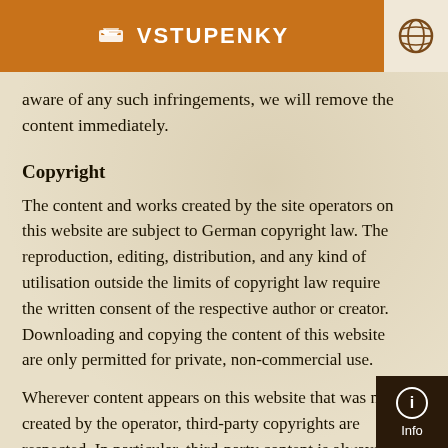VSTUPENKY
aware of any such infringements, we will remove the content immediately.
Copyright
The content and works created by the site operators on this website are subject to German copyright law. The reproduction, editing, distribution, and any kind of utilisation outside the limits of copyright law require the written consent of the respective author or creator. Downloading and copying the content of this website are only permitted for private, non-commercial use.
Wherever content appears on this website that was not created by the operator, third-party copyrights are respected. In particular, third-party content is always identified as such. Should you nevertheless become aware